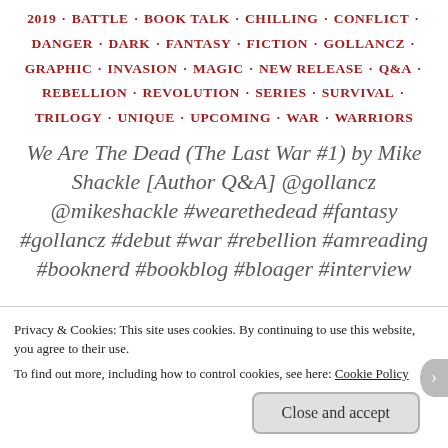2019 · BATTLE · BOOK TALK · CHILLING · CONFLICT · DANGER · DARK · FANTASY · FICTION · GOLLANCZ · GRAPHIC · INVASION · MAGIC · NEW RELEASE · Q&A · REBELLION · REVOLUTION · SERIES · SURVIVAL · TRILOGY · UNIQUE · UPCOMING · WAR · WARRIORS
We Are The Dead (The Last War #1) by Mike Shackle [Author Q&A] @gollancz @mikeshackle #wearethedead #fantasy #gollancz #debut #war #rebellion #amreading #booknerd #bookblog #bloager #interview
Privacy & Cookies: This site uses cookies. By continuing to use this website, you agree to their use.
To find out more, including how to control cookies, see here: Cookie Policy